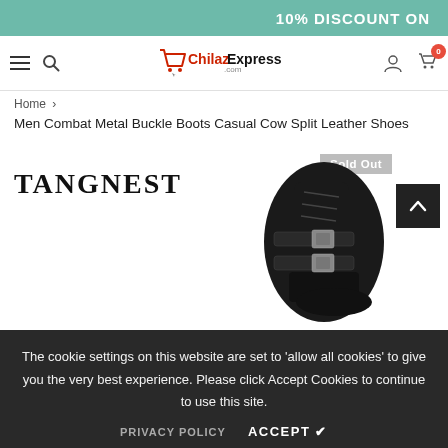10% DISCOUNT ON
[Figure (logo): ChilazExpress.com logo with shopping cart icon]
Home > Men Combat Metal Buckle Boots Casual Cow Split Leather Shoes
Men Combat Metal Buckle Boots Casual Cow Split Leather Shoes
[Figure (photo): TANGNEST brand combat boots with metal buckles, black leather. Sold Out badge visible.]
The cookie settings on this website are set to 'allow all cookies' to give you the very best experience. Please click Accept Cookies to continue to use this site.
PRIVACY POLICY   ACCEPT ✔